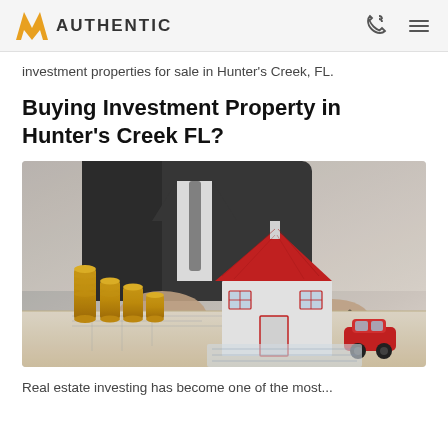AUTHENTIC
investment properties for sale in Hunter's Creek, FL.
Buying Investment Property in Hunter's Creek FL?
[Figure (photo): A businessman in a dark suit sitting at a desk with blueprints, a small model house with a red roof, stacks of gold coins, and a small red car, suggesting real estate investment planning.]
Real estate investing has become one of the most...